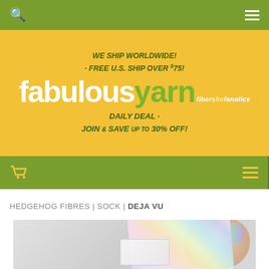Navigation bar with search and menu icons
[Figure (logo): Fabulous Yarn website banner with yellow background. Text: WE SHIP WORLDWIDE! · FREE U.S. SHIP OVER $75! Logo: fabulousyarn fibers for fanatics. DAILY DEAL · JOIN & SAVE UP TO 30% OFF!]
Shopping cart and hamburger menu icons on green nav bar
HEDGEHOG FIBRES | SOCK | DEJA VU
[Figure (photo): Product photo of holographic/iridescent ribbon skein of yarn in Deja Vu colorway by Hedgehog Fibres, on a light grey background]